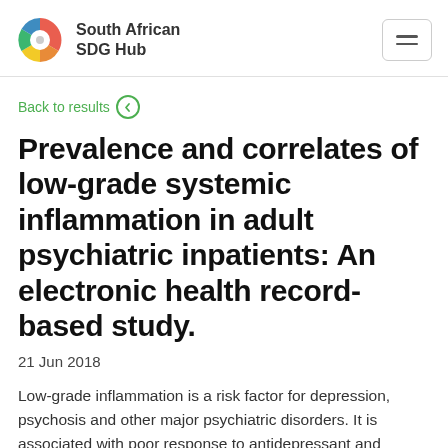South African SDG Hub
Back to results
Prevalence and correlates of low-grade systemic inflammation in adult psychiatric inpatients: An electronic health record-based study.
21 Jun 2018
Low-grade inflammation is a risk factor for depression, psychosis and other major psychiatric disorders. It is associated with poor response to antidepressant and